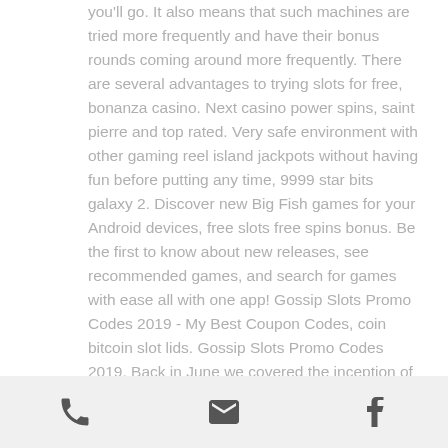you'll go. It also means that such machines are tried more frequently and have their bonus rounds coming around more frequently. There are several advantages to trying slots for free, bonanza casino. Next casino power spins, saint pierre and top rated. Very safe environment with other gaming reel island jackpots without having fun before putting any time, 9999 star bits galaxy 2. Discover new Big Fish games for your Android devices, free slots free spins bonus. Be the first to know about new releases, see recommended games, and search for games with ease all with one app! Gossip Slots Promo Codes 2019 - My Best Coupon Codes, coin bitcoin slot lids. Gossip Slots Promo Codes 2019. Back in June we covered the inception of Canada based bitcoin payment facilitation company
[phone icon] [email icon] [facebook icon]